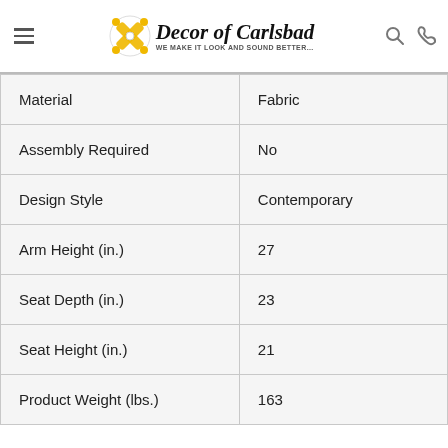Decor of Carlsbad — WE MAKE IT LOOK AND SOUND BETTER...
| Material | Fabric |
| Assembly Required | No |
| Design Style | Contemporary |
| Arm Height (in.) | 27 |
| Seat Depth (in.) | 23 |
| Seat Height (in.) | 21 |
| Product Weight (lbs.) | 163 |